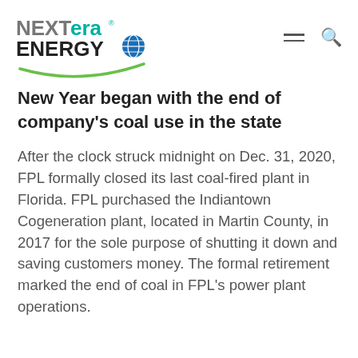[Figure (logo): NextEra Energy logo with NEXT in gray, era in teal/green, ENERGY in dark with a blue globe icon, and a green arc swoosh underneath]
New Year began with the end of company's coal use in the state
After the clock struck midnight on Dec. 31, 2020, FPL formally closed its last coal-fired plant in Florida. FPL purchased the Indiantown Cogeneration plant, located in Martin County, in 2017 for the sole purpose of shutting it down and saving customers money. The formal retirement marked the end of coal in FPL's power plant operations.